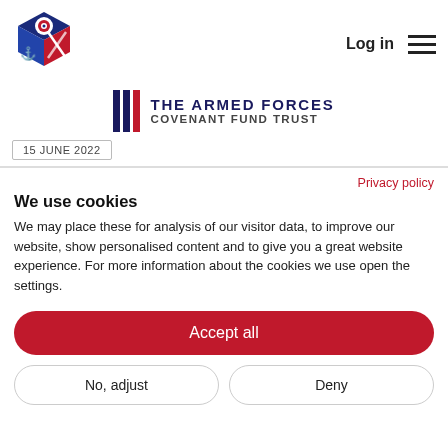[Figure (logo): Armed Forces Covenant Fund Trust cube logo — blue, red, white geometric cube with anchor and cross motif and a target/bullseye on top]
Log in
[Figure (logo): The Armed Forces Covenant Fund Trust wordmark with three vertical stripes (navy, navy, red) followed by two lines of text: THE ARMED FORCES / COVENANT FUND TRUST]
15 JUNE 2022
Privacy policy
We use cookies
We may place these for analysis of our visitor data, to improve our website, show personalised content and to give you a great website experience. For more information about the cookies we use open the settings.
Accept all
No, adjust
Deny